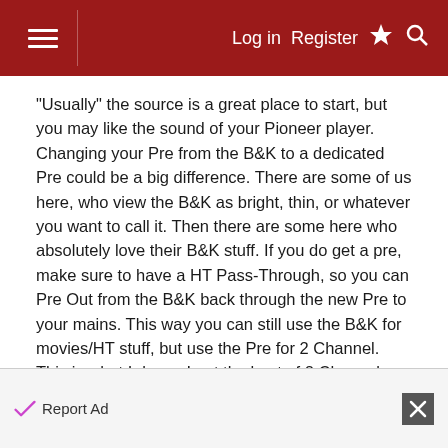Log in  Register
"Usually" the source is a great place to start, but you may like the sound of your Pioneer player. Changing your Pre from the B&K to a dedicated Pre could be a big difference. There are some of us here, who view the B&K as bright, thin, or whatever you want to call it. Then there are some here who absolutely love their B&K stuff. If you do get a pre, make sure to have a HT Pass-Through, so you can Pre Out from the B&K back through the new Pre to your mains. This way you can still use the B&K for movies/HT stuff, but use the Pre for 2 Channel. This is what I do, so I get the best of 2 Channel, but can also do the HT things and some MCH Audio.
Report Ad